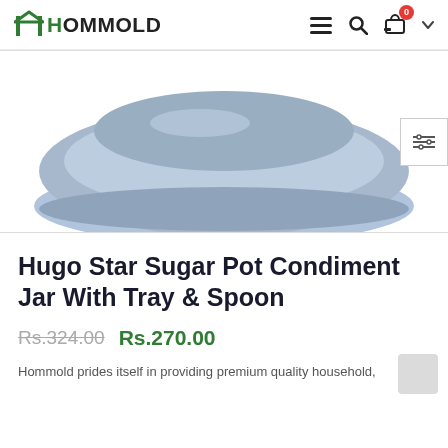HOMMOLD
[Figure (photo): Close-up product photo showing the bottom/tray of a blue sugar pot condiment jar on a white background]
Hugo Star Sugar Pot Condiment Jar With Tray & Spoon
Rs.324.00  Rs.270.00
Hommold prides itself in providing premium quality household,